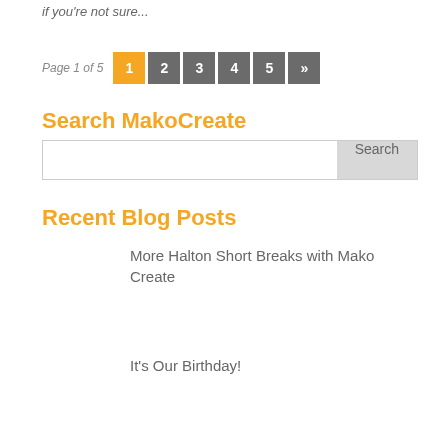if you're not sure...
Page 1 of 5  1 2 3 4 5 »
Search MakoCreate
Search
Recent Blog Posts
More Halton Short Breaks with Mako Create
It's Our Birthday!